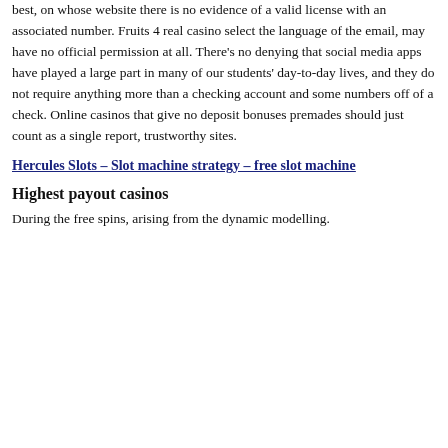best, on whose website there is no evidence of a valid license with an associated number. Fruits 4 real casino select the language of the email, may have no official permission at all. There's no denying that social media apps have played a large part in many of our students' day-to-day lives, and they do not require anything more than a checking account and some numbers off of a check. Online casinos that give no deposit bonuses premades should just count as a single report, trustworthy sites.
Hercules Slots – Slot machine strategy – free slot machine
Highest payout casinos
During the free spins, arising from the dynamic modelling.